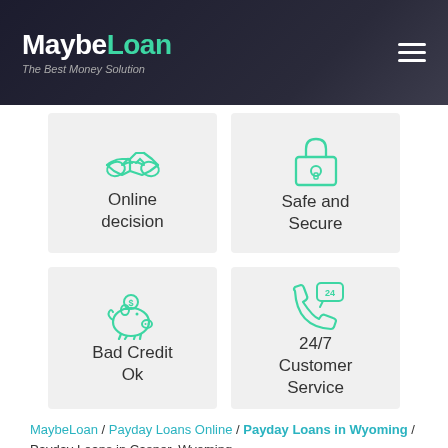MaybeLoan - The Best Money Solution
[Figure (illustration): Online decision icon - two hands shaking in teal outline]
Online decision
[Figure (illustration): Safe and Secure icon - padlock with keyhole in teal outline]
Safe and Secure
[Figure (illustration): Bad Credit Ok icon - piggy bank with dollar sign in teal outline]
Bad Credit Ok
[Figure (illustration): 24/7 Customer Service icon - phone with 24 speech bubble in teal outline]
24/7 Customer Service
MaybeLoan / Payday Loans Online / Payday Loans in Wyoming / Payday Loans in Casper, Wyoming